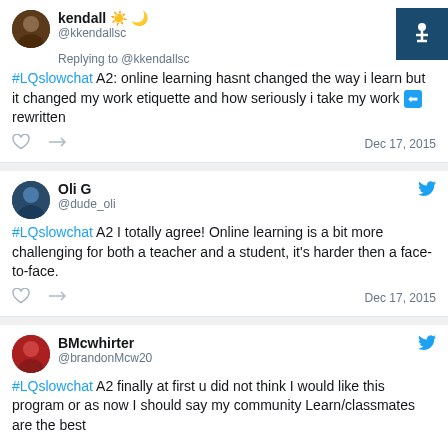[Figure (screenshot): Twitter/social media feed screenshot showing three tweets about online learning with the hashtag #LQslowchat]
kendall ☀️🌙 @kkendallsc Replying to @kkendallsc #LQslowchat A2: online learning hasnt changed the way i learn but it changed my work etiquette and how seriously i take my work ⬅rewritten Dec 17, 2015
Oli G @dude_oli #LQslowchat A2 I totally agree! Online learning is a bit more challenging for both a teacher and a student, it's harder then a face-to-face. Dec 17, 2015
BMcwhirter @brandonMcw20 #LQslowchat A2 finally at first u did not think I would like this program or as now I should say my community Learn/classmates are the best